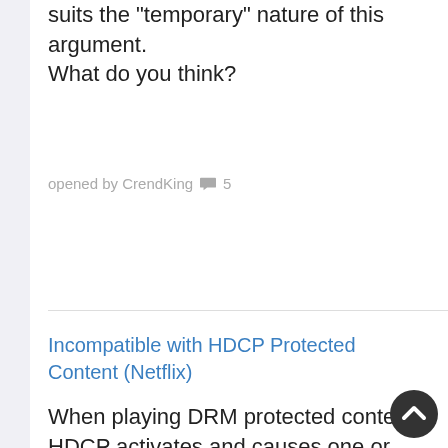suits the "temporary" nature of this argument.
What do you think?
opened by CrendKing 💬 5
Incompatible with HDCP Protected Content (Netflix)
When playing DRM protected content, HDCP activates and causes one or two black flashes of the screen. The LUT is unloaded. The application status becomes "Inactive". And the video begins playing.
As a reminder, High-bandwidth Digital Content Protection